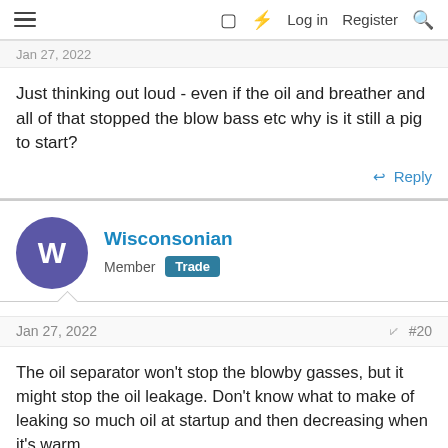≡  □  ⚡  Log in  Register  🔍
Jan 27, 2022
Just thinking out loud - even if the oil and breather and all of that stopped the blow bass etc why is it still a pig to start?
↩ Reply
Wisconsonian
Member  Trade
Jan 27, 2022  #20
The oil separator won't stop the blowby gasses, but it might stop the oil leakage. Don't know what to make of leaking so much oil at startup and then decreasing when it's warm.

I'd want to do a compression test, and pop test the injectors, then look at timing, and if that doesn't show a reason, then the injection pump might be the culprit for hard starting.